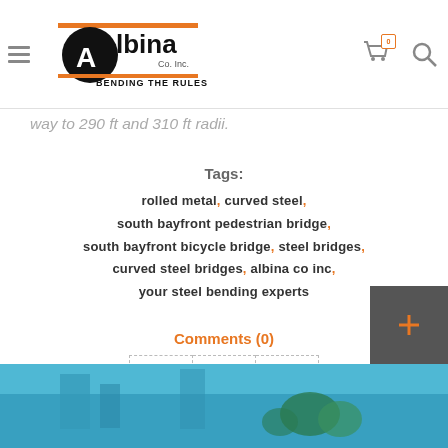Albina Co., Inc. - Bending The Rules
way to 290 ft and 310 ft radii.
Tags: rolled metal, curved steel, south bayfront pedestrian bridge, south bayfront bicycle bridge, steel bridges, curved steel bridges, albina co inc, your steel bending experts
Comments (0)
[Figure (other): Social share buttons: Facebook, Twitter, LinkedIn]
[Figure (photo): Blue architectural/bridge photo at bottom of page]